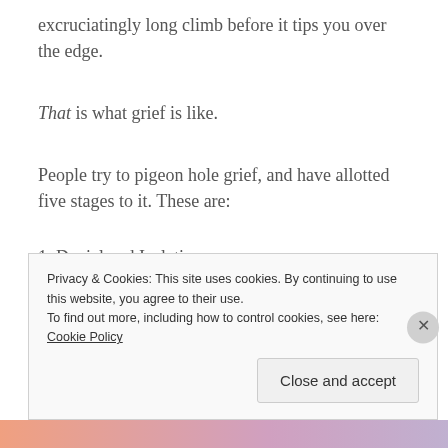excruciatingly long climb before it tips you over the edge.
That is what grief is like.
People try to pigeon hole grief, and have allotted five stages to it. These are:
1. Denial and Isolation
2. Anger
Privacy & Cookies: This site uses cookies. By continuing to use this website, you agree to their use. To find out more, including how to control cookies, see here: Cookie Policy
Close and accept